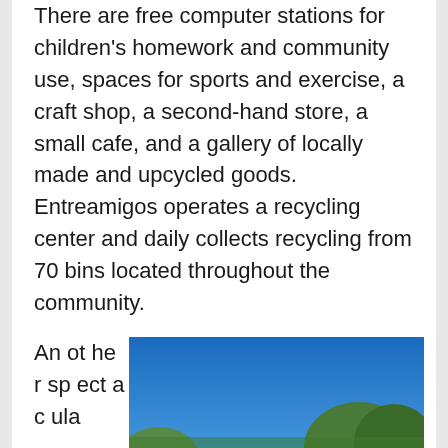There are free computer stations for children's homework and community use, spaces for sports and exercise, a craft shop, a second-hand store, a small cafe, and a gallery of locally made and upcycled goods. Entreamigos operates a recycling center and daily collects recycling from 70 bins located throughout the community.
Another spectacular
[Figure (photo): Outdoor photo of polo players on horseback on a green field, with mountains and blue sky in the background. Several riders in blue and white uniforms holding polo mallets.]